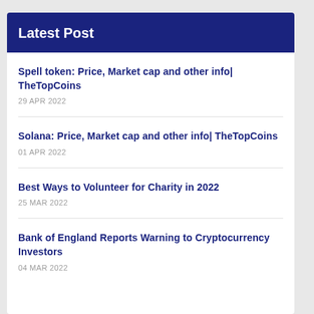Latest Post
Spell token: Price, Market cap and other info| TheTopCoins
29 APR 2022
Solana: Price, Market cap and other info| TheTopCoins
01 APR 2022
Best Ways to Volunteer for Charity in 2022
25 MAR 2022
Bank of England Reports Warning to Cryptocurrency Investors
04 MAR 2022